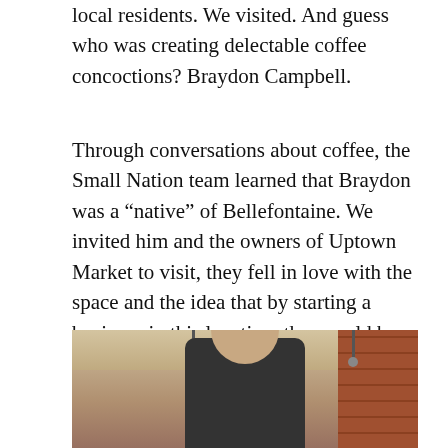local residents. We visited. And guess who was creating delectable coffee concoctions? Braydon Campbell.
Through conversations about coffee, the Small Nation team learned that Braydon was a “native” of Bellefontaine. We invited him and the owners of Uptown Market to visit, they fell in love with the space and the idea that by starting a business in this location, they could be a catalyst for renovations to an entire block! “Native Coffee” was born, and was indeed the beginning of a new future for that part of downtown.
[Figure (photo): A man standing inside a coffee shop, wearing a dark shirt, with brick wall visible on the right and pendant lights hanging from the ceiling.]